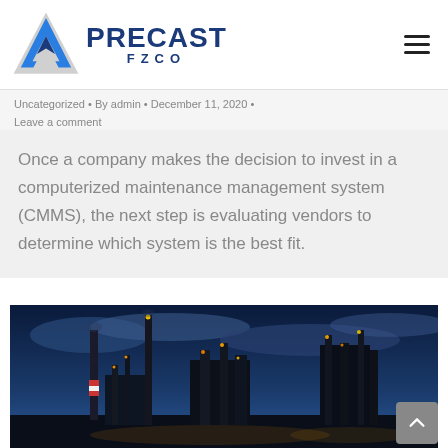PRECAST FZCO
Uncategorized • By admin • December 11, 2020 • Leave a comment
Once a company makes the decision to invest in a computerized maintenance management system (CMMS), the next step is evaluating vendors to determine which system is the best fit.
[Figure (photo): Industrial chemical plant or refinery at dusk/night with tall chimneys and towers lit up against a deep blue cloudy sky]